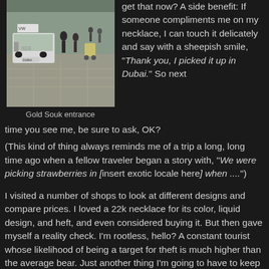[Figure (photo): Street scene at Gold Souk entrance in Dubai, showing a white van, pedestrians, and a person with a stroller on a wide sidewalk.]
Gold Souk entrance
get that now? A side benefit: If someone compliments me on my necklace, I can touch it delicately and say with a sheepish smile, "Thank you, I picked it up in Dubai." So next time you see me, be sure to ask, OK?
(This kind of thing always reminds me of a trip a long, long time ago when a fellow traveler began a story with, "We were picking strawberries in [insert exotic locale here] when ....")
I visited a number of shops to look at different designs and compare prices. I loved a 22k necklace for its color, liquid design, and heft, and even considered buying it. But then gave myself a reality check. I'm rootless, hello? A constant tourist whose likelihood of being a target for theft is much higher than the average bear. Just another thing I'm going to have to keep track of, like a toddler. And why am I even